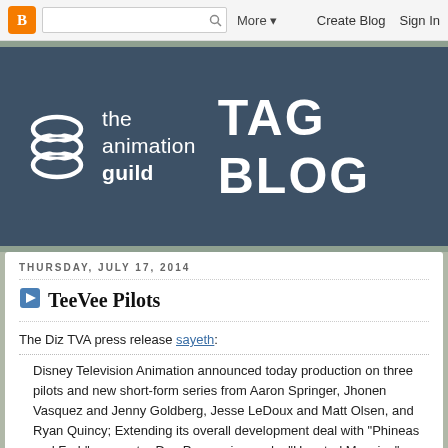[Figure (screenshot): Blogger navbar with orange B logo, search box, More dropdown, Create Blog and Sign In links]
[Figure (logo): The Animation Guild TAG BLOG banner with stacked rings logo on dark blue background]
THURSDAY, JULY 17, 2014
TeeVee Pilots
The Diz TVA press release sayeth:
Disney Television Animation announced today production on three pilots and new short-form series from Aaron Springer, Jhonen Vasquez and Jenny Goldberg, Jesse LeDoux and Matt Olsen, and Ryan Quincy; Extending its overall development deal with "Phineas and Ferb" co-creator Dan Povenmire; and a "Haunted Mansion" Special